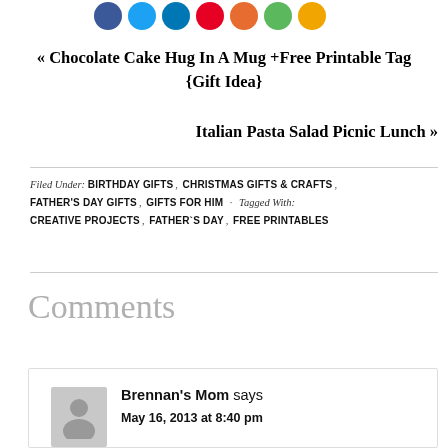[Figure (illustration): Row of social media sharing icon circles in blue, light blue, dark blue, red, orange, green, and amber colors, partially cropped at top]
« Chocolate Cake Hug In A Mug +Free Printable Tag {Gift Idea}
Italian Pasta Salad Picnic Lunch »
Filed Under: BIRTHDAY GIFTS, CHRISTMAS GIFTS & CRAFTS, FATHER'S DAY GIFTS, GIFTS FOR HIM · Tagged With: CREATIVE PROJECTS, FATHER`S DAY, FREE PRINTABLES
Comments
Brennan's Mom says
May 16, 2013 at 8:40 pm